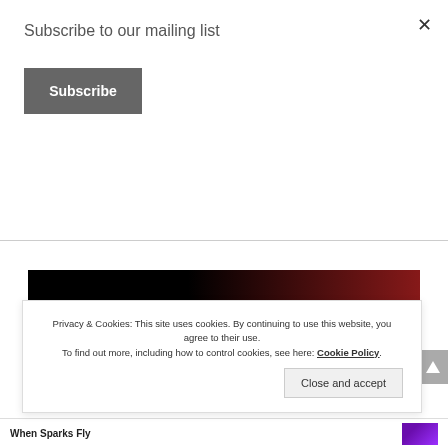Subscribe to our mailing list
Subscribe
[Figure (illustration): Laura Hunsaker author banner: white serif text 'Laura Hunsaker' on black and dark red background]
SOME LINKS MAY BE AFFILIATE LINKS
Privacy & Cookies: This site uses cookies. By continuing to use this website, you agree to their use. To find out more, including how to control cookies, see here: Cookie Policy
Close and accept
When Sparks Fly